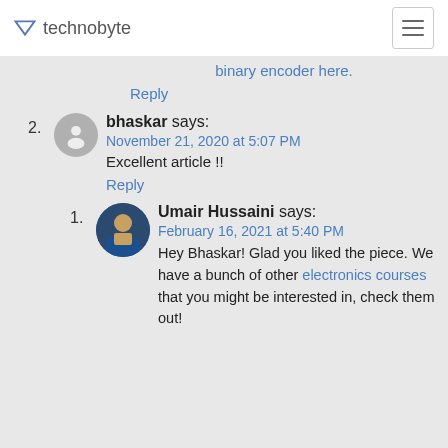technobyte
binary encoder here.
Reply
2. bhaskar says: November 21, 2020 at 5:07 PM
Excellent article !!
Reply
1. Umair Hussaini says: February 16, 2021 at 5:40 PM
Hey Bhaskar! Glad you liked the piece. We have a bunch of other electronics courses that you might be interested in, check them out!